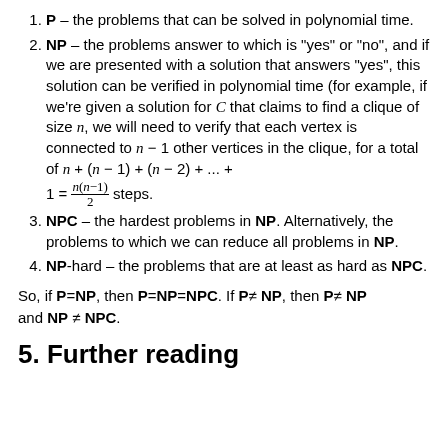P – the problems that can be solved in polynomial time.
NP – the problems answer to which is "yes" or "no", and if we are presented with a solution that answers "yes", this solution can be verified in polynomial time (for example, if we're given a solution for C that claims to find a clique of size n, we will need to verify that each vertex is connected to n − 1 other vertices in the clique, for a total of n + (n − 1) + (n − 2) + ... + 1 = n(n−1)/2 steps.
NPC – the hardest problems in NP. Alternatively, the problems to which we can reduce all problems in NP.
NP-hard – the problems that are at least as hard as NPC.
So, if P=NP, then P=NP=NPC. If P≠ NP, then P≠ NP and NP ≠ NPC.
5. Further reading